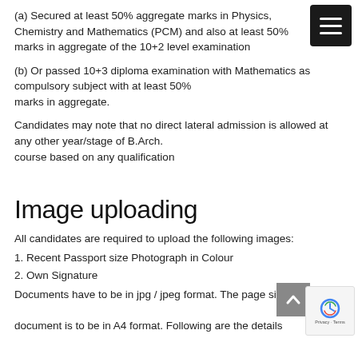(a) Secured at least 50% aggregate marks in Physics, Chemistry and Mathematics (PCM) and also at least 50% marks in aggregate of the 10+2 level examination
(b) Or passed 10+3 diploma examination with Mathematics as compulsory subject with at least 50% marks in aggregate.
Candidates may note that no direct lateral admission is allowed at any other year/stage of B.Arch. course based on any qualification
Image uploading
All candidates are required to upload the following images:
1. Recent Passport size Photograph in Colour
2. Own Signature
Documents have to be in jpg / jpeg format. The page size of document is to be in A4 format. Following are the details